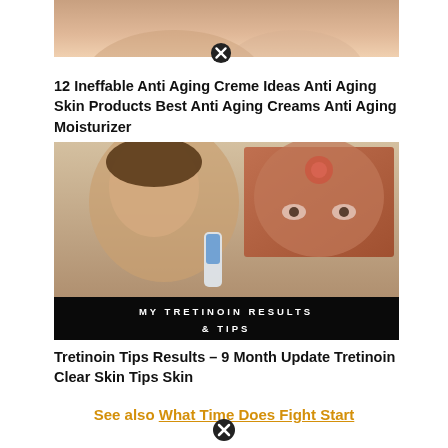[Figure (photo): Partial view of a woman touching her neck/collarbone area, with a product visible, cropped at top]
[Figure (other): Close button (x in circle) below top image]
12 Ineffable Anti Aging Creme Ideas Anti Aging Skin Products Best Anti Aging Creams Anti Aging Moisturizer
[Figure (photo): A woman holding a skincare tube product beside a close-up photo of a woman's forehead with acne/skin blemish. Text overlay reads 'MY TRETINOIN RESULTS & TIPS']
Tretinoin Tips Results – 9 Month Update Tretinoin Clear Skin Tips Skin
See also  What Time Does Fight Start
[Figure (other): Close button (x in circle) at bottom]